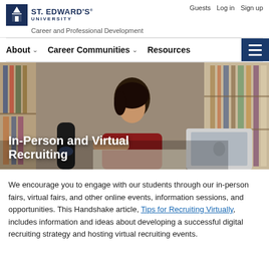St. Edward's University — Career and Professional Development | Guests  Login  Sign up
About  Career Communities  Resources
[Figure (photo): A female student studying in a library, writing in a notebook with a laptop open beside her and bookshelves in the background. Hero banner image with text overlay 'In-Person and Virtual Recruiting'.]
In-Person and Virtual Recruiting
We encourage you to engage with our students through our in-person fairs, virtual fairs, and other online events, information sessions, and opportunities. This Handshake article, Tips for Recruiting Virtually, includes information and ideas about developing a successful digital recruiting strategy and hosting virtual recruiting events.